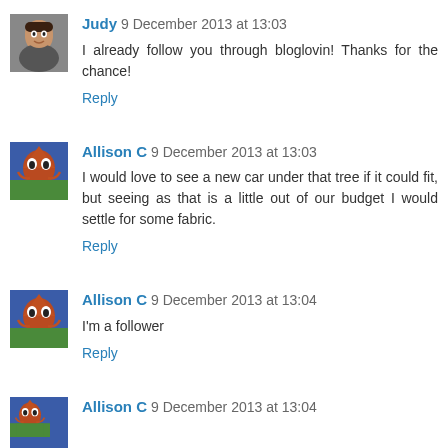Judy 9 December 2013 at 13:03
I already follow you through bloglovin! Thanks for the chance!
Reply
Allison C 9 December 2013 at 13:03
I would love to see a new car under that tree if it could fit, but seeing as that is a little out of our budget I would settle for some fabric.
Reply
Allison C 9 December 2013 at 13:04
I'm a follower
Reply
Allison C 9 December 2013 at 13:04